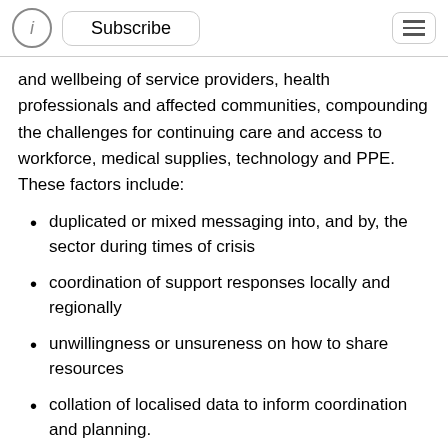i | Subscribe | ≡
and wellbeing of service providers, health professionals and affected communities, compounding the challenges for continuing care and access to workforce, medical supplies, technology and PPE. These factors include:
duplicated or mixed messaging into, and by, the sector during times of crisis
coordination of support responses locally and regionally
unwillingness or unsureness on how to share resources
collation of localised data to inform coordination and planning.
The importance of dedicated resources, tailored to the unique situations of rural and remote communities, has been highlighted to meet complex local needs stemming from multiple emergency situations. Key activities and outcomes